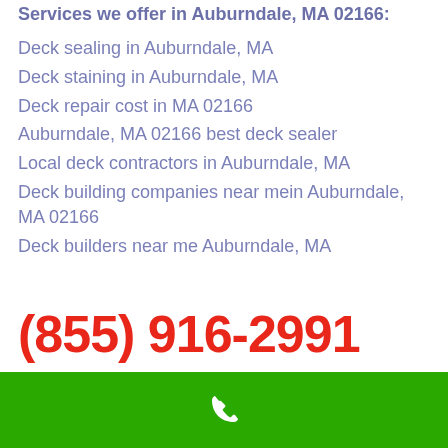Services we offer in Auburndale, MA 02166:
Deck sealing in Auburndale, MA
Deck staining in Auburndale, MA
Deck repair cost in MA 02166
Auburndale, MA 02166 best deck sealer
Local deck contractors in Auburndale, MA
Deck building companies near mein Auburndale, MA 02166
Deck builders near me Auburndale, MA
(855) 916-2991
How much does it cost for a contractor to build a
[Figure (illustration): Green bar at bottom with white phone icon in center]